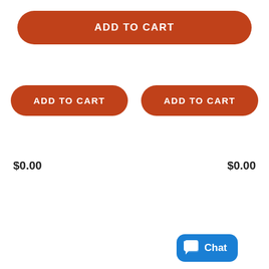ADD TO CART
ADD TO CART
ADD TO CART
$0.00
$0.00
[Figure (screenshot): Blue chat button with speech bubble icon and 'Chat' label]